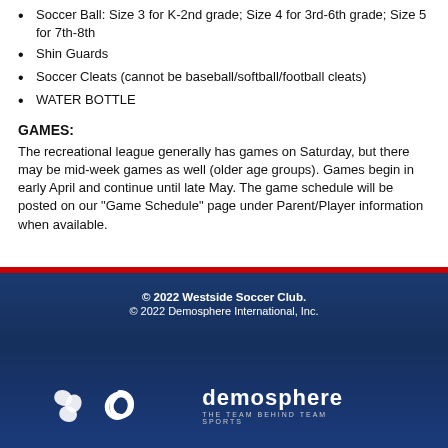Soccer Ball: Size 3 for K-2nd grade; Size 4 for 3rd-6th grade; Size 5 for 7th-8th
Shin Guards
Soccer Cleats (cannot be baseball/softball/football cleats)
WATER BOTTLE
GAMES:
The recreational league generally has games on Saturday, but there may be mid-week games as well (older age groups). Games begin in early April and continue until late May. The game schedule will be posted on our "Game Schedule" page under Parent/Player information when available.
© 2022 Westside Soccer Club.
© 2022 Demosphere International, Inc.